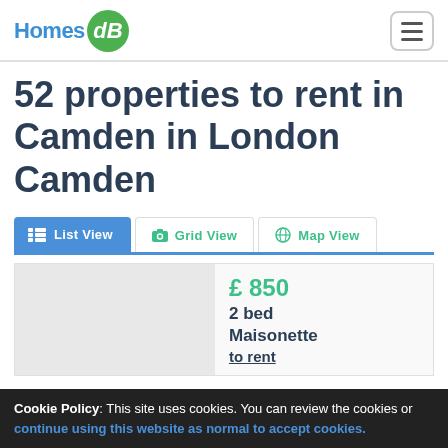HomesDB
52 properties to rent in Camden in London Camden
List View | Grid View | Map View
£ 850
2 bed
Maisonette
to rent
Cookie Policy: This site uses cookies. You can review the cookies or continue using this website as normal to accept cookies.